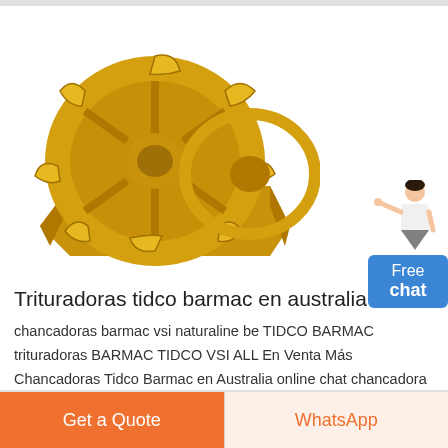[Figure (photo): Yellow industrial sand washing machine / bucket wheel on white background]
[Figure (illustration): Person pointing with blue Free chat button overlay]
Trituradoras tidco barmac en australia
chancadoras barmac vsi naturaline be TIDCO BARMAC trituradoras BARMAC TIDCO VSI ALL En Venta Más Chancadoras Tidco Barmac en Australia online chat chancadora barmac Chancadoras de